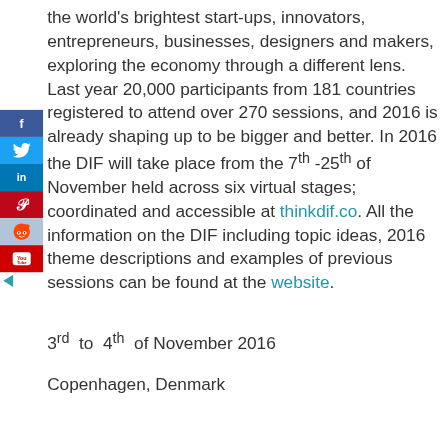the world's brightest start-ups, innovators, entrepreneurs, businesses, designers and makers, exploring the economy through a different lens. Last year 20,000 participants from 181 countries registered to attend over 270 sessions, and 2016 is already shaping up to be bigger and better. In 2016 the DIF will take place from the 7th -25th of November held across six virtual stages; coordinated and accessible at thinkdif.co. All the information on the DIF including topic ideas, 2016 theme descriptions and examples of previous sessions can be found at the website.
3rd to 4th of November 2016
Copenhagen, Denmark